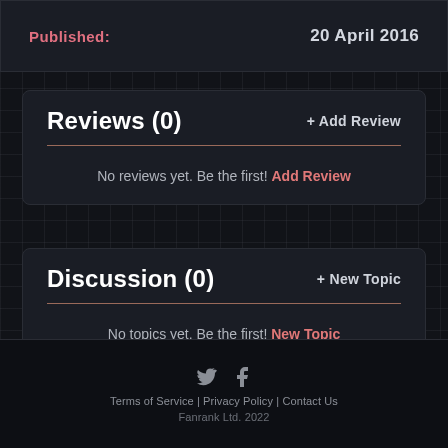Published: 20 April 2016
Reviews (0)
+ Add Review
No reviews yet. Be the first! Add Review
Discussion (0)
+ New Topic
No topics yet. Be the first! New Topic
Terms of Service | Privacy Policy | Contact Us
Fanrank Ltd. 2022